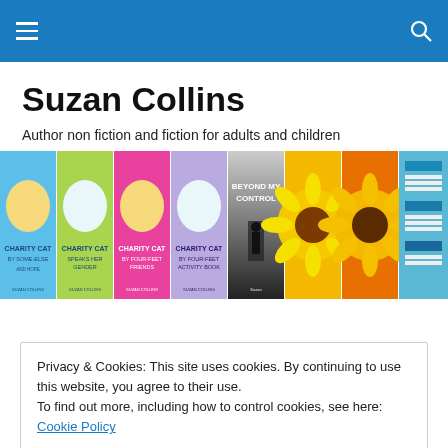Navigation header with hamburger menu and search icon
Suzan Collins
Author non fiction and fiction for adults and children
[Figure (photo): A horizontal strip of book covers including Charity Cat series books, Beyond My Control, sunflower photography books, and other books by Suzan Collins]
Privacy & Cookies: This site uses cookies. By continuing to use this website, you agree to their use.
To find out more, including how to control cookies, see here: Cookie Policy
Close and accept
BOOK